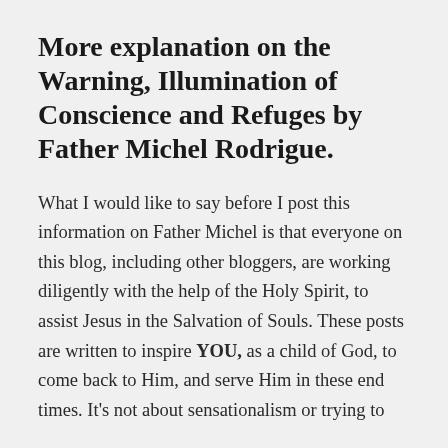More explanation on the Warning, Illumination of Conscience and Refuges by Father Michel Rodrigue.
What I would like to say before I post this information on Father Michel is that everyone on this blog, including other bloggers, are working diligently with the help of the Holy Spirit, to assist Jesus in the Salvation of Souls. These posts are written to inspire YOU, as a child of God, to come back to Him, and serve Him in these end times. It's not about sensationalism or trying to